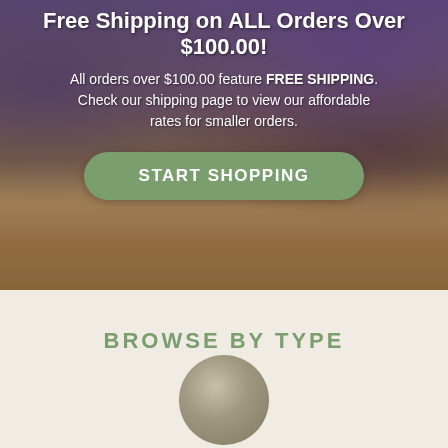Free Shipping on ALL Orders Over $100.00!
All orders over $100.00 feature FREE SHIPPING. Check our shipping page to view our affordable rates for smaller orders.
[Figure (other): Green rounded button with text START SHOPPING]
[Figure (photo): Background photo of lavender flowers and amber essential oil bottle on rustic wooden surface]
BROWSE BY TYPE
[Figure (photo): Circular cropped photo preview at bottom of page showing natural/botanical product]